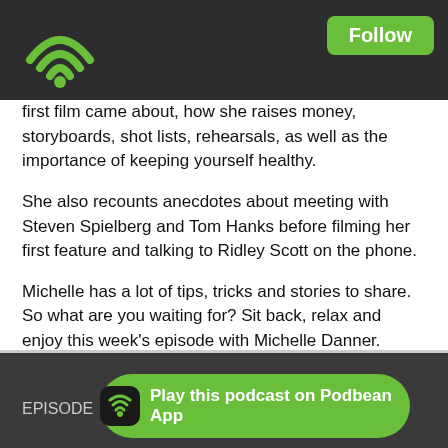Follow
first film came about, how she raises money, storyboards, shot lists, rehearsals, as well as the importance of keeping yourself healthy.
She also recounts anecdotes about meeting with Steven Spielberg and Tom Hanks before filming her first feature and talking to Ridley Scott on the phone.
Michelle has a lot of tips, tricks and stories to share. So what are you waiting for? Sit back, relax and enjoy this week's episode with Michelle Danner.
BAD IMPULSE is out!
In the aftermath of a traumatic event, a suburban husband and father buys a cutting-edge home security system, only to find that it slowly destroys that which he most wants to protect.
EPISODE — Play this podcast on Podbean App